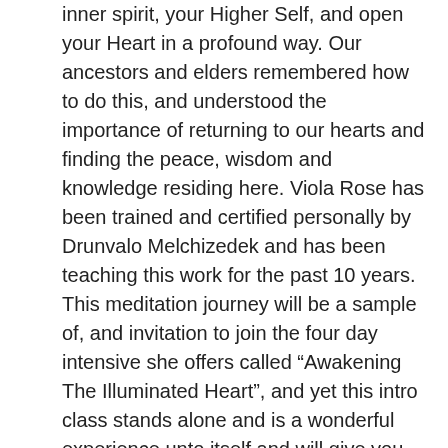inner spirit, your Higher Self, and open your Heart in a profound way. Our ancestors and elders remembered how to do this, and understood the importance of returning to our hearts and finding the peace, wisdom and knowledge residing here. Viola Rose has been trained and certified personally by Drunvalo Melchizedek and has been teaching this work for the past 10 years. This meditation journey will be a sample of, and invitation to join the four day intensive she offers called “Awakening The Illuminated Heart”, and yet this intro class stands alone and is a wonderful experience unto itself and will give you useful tools you can use for years to come.
To learn more about Viola’s passionate, joyful enthusiasm for this important life changing and upgrading work, visit her website www.heartandsoundhealing.com
Viola Just moved to the Sedona area from Portland Oregon and this is her first offering in the area of